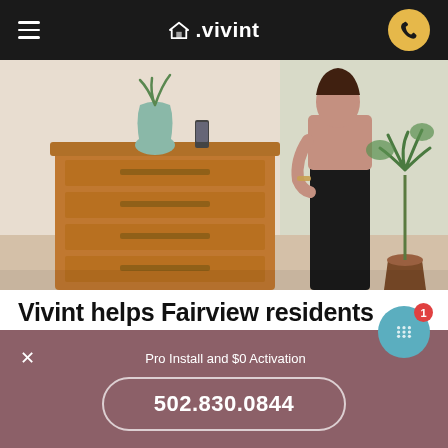Vivint navigation bar with hamburger menu and phone button
[Figure (photo): Interior home photo showing a wooden dresser with a teal vase on top, a person in dark pants standing near a window, and a potted plant to the right]
Vivint helps Fairview residents save on energy expenses
Fairview, Kentucky, is known for its highly variable weather and we all know that warm spring days can flash back to winter or cool fall days back to summer heat
Pro Install and $0 Activation
502.830.0844